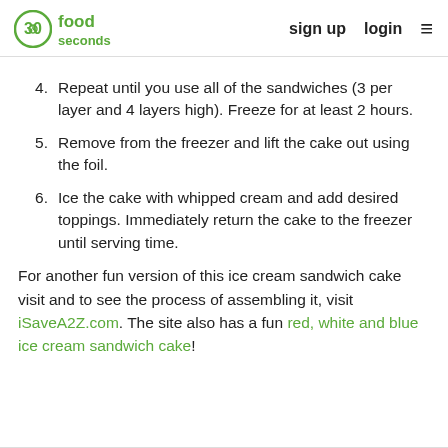30 seconds food | sign up | login
4. Repeat until you use all of the sandwiches (3 per layer and 4 layers high). Freeze for at least 2 hours.
5. Remove from the freezer and lift the cake out using the foil.
6. Ice the cake with whipped cream and add desired toppings. Immediately return the cake to the freezer until serving time.
For another fun version of this ice cream sandwich cake visit and to see the process of assembling it, visit iSaveA2Z.com. The site also has a fun red, white and blue ice cream sandwich cake!